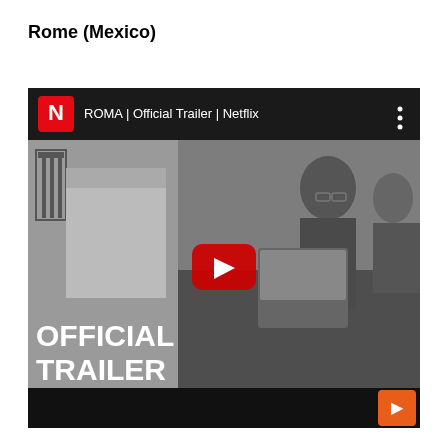Rome (Mexico)
[Figure (screenshot): YouTube embedded video player showing ROMA Official Trailer Netflix. The video thumbnail is a black-and-white scene with a bearded man in a suit jacket. The YouTube bar at top shows the Netflix N logo and title 'ROMA | Official Trailer | Netflix'. A red YouTube play button is centered on the video. Text 'OFFICIAL TRAILER' appears in large white bold letters at the bottom left of the video frame. An orange button appears at the bottom right corner.]